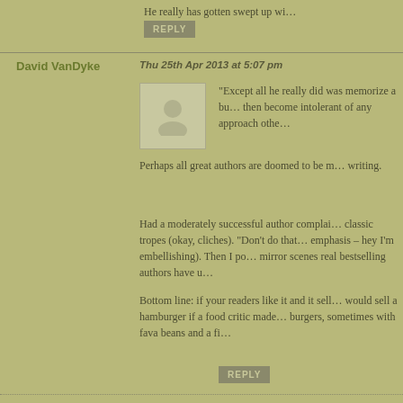He really has gotten swept up wi...
REPLY
David VanDyke
Thu 25th Apr 2013 at 5:07 pm
"Except all he really did was memorize a bu... then become intolerant of any approach othe...
Perhaps all great authors are doomed to be m... writing.
Had a moderately successful author complai... classic tropes (okay, cliches). "Don't do that... emphasis – hey I'm embellishing). Then I po... mirror scenes real bestselling authors have u...
Bottom line: if your readers like it and it sell... would sell a hamburger if a food critic made... burgers, sometimes with fava beans and a fi...
REPLY